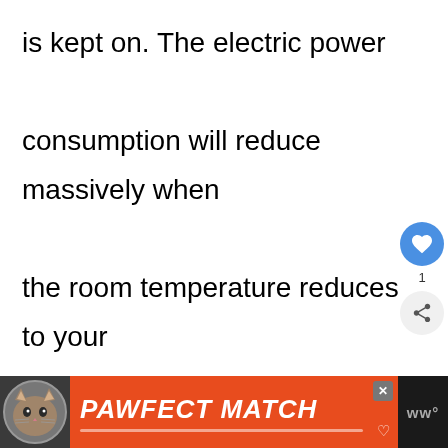is kept on. The electric power consumption will reduce massively when the room temperature reduces to your desired temperature.

However, this feature is only available in the inverter air conditioner units. The previously launched units will consume the same amount of electricity throughout th
[Figure (other): Social interaction buttons: a blue heart/like button with count '1' and a share button]
[Figure (other): Advertisement banner for 'PAWFECT MATCH' showing a cat image on dark background with orange/red branding]